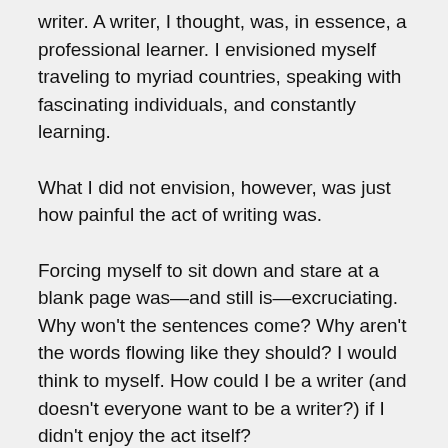writer. A writer, I thought, was, in essence, a professional learner. I envisioned myself traveling to myriad countries, speaking with fascinating individuals, and constantly learning.
What I did not envision, however, was just how painful the act of writing was.
Forcing myself to sit down and stare at a blank page was—and still is—excruciating. Why won't the sentences come? Why aren't the words flowing like they should? I would think to myself. How could I be a writer (and doesn't everyone want to be a writer?) if I didn't enjoy the act itself?
Something had to be wrong with me, and I frequently questioned my career aspirations as a result. But then I